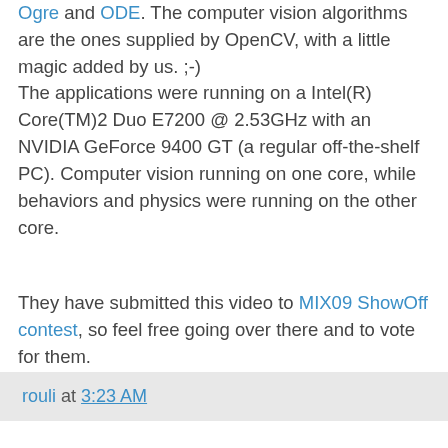Ogre and ODE. The computer vision algorithms are the ones supplied by OpenCV, with a little magic added by us. ;-)
The applications were running on a Intel(R) Core(TM)2 Duo E7200 @ 2.53GHz with an NVIDIA GeForce 9400 GT (a regular off-the-shelf PC). Computer vision running on one core, while behaviors and physics were running on the other core.
They have submitted this video to MIX09 ShowOff contest, so feel free going over there and to vote for them.
rouli at 3:23 AM
1 comment:
MNYGM November 20, 2018 at 7:11 PM